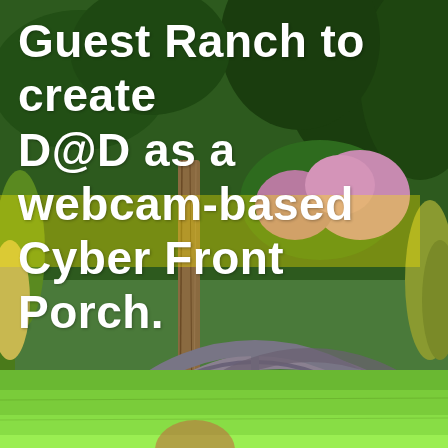[Figure (photo): Outdoor photo of a wooden wagon wheel leaning against a wooden post, surrounded by green grass lawn in the foreground, with flower bushes and dark green trees/shrubs in the background. The scene is a garden or ranch setting.]
Guest Ranch to create D@D as a webcam-based Cyber Front Porch.